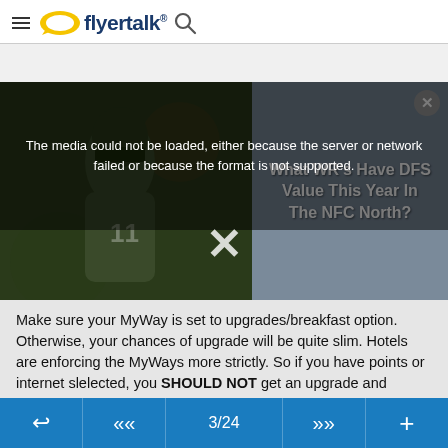flyertalk
[Figure (screenshot): Media player with error message overlay reading 'The media could not be loaded, either because the server or network failed or because the format is not supported.' overlaid on a photo of a football player. Right panel shows advertisement text 'What WR's Have DFS Value This Year In The NFC North?' with close button. Large X dismiss overlay in center.]
Make sure your MyWay is set to upgrades/breakfast option. Otherwise, your chances of upgrade will be quite slim. Hotels are enforcing the MyWays more strictly. So if you have points or internet slelected, you SHOULD NOT get an upgrade and should NOT expect one.
3/24